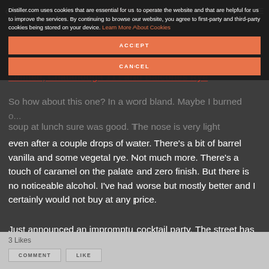DISTILLER
[Figure (screenshot): Cookie consent overlay with ACCEPT and CANCEL buttons on dark background, showing cookie policy text and a link 'Learn More About Cookies']
Limited, Chatanooga 111 and Balcones Rye
So how about this one? In a word bland. Maybe I burned o... soup at lunch sure was good. The nose is very light even after a couple drops of water. There's a bit of barrel vanilla and some vegetal rye. Not much more. There's a touch of caramel on the palate and zero finish. But there is no noticeable alcohol. I've had worse but mostly better and I certainly would not buy at any price.
Just announced an impromptu cocktail party. The street has been closed of and everyone is to bring their favorite bottle to share! Stay tuned.
3 Likes